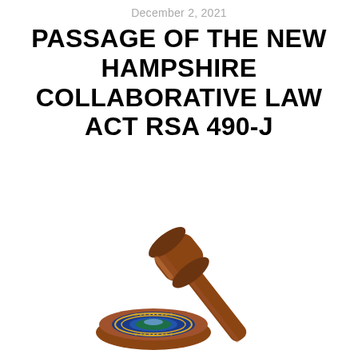December 2, 2021
PASSAGE OF THE NEW HAMPSHIRE COLLABORATIVE LAW ACT RSA 490-J
[Figure (illustration): A wooden judge's gavel resting on a sound block/striker with the New Hampshire state seal (blue circle with gold stars and state emblem) on the striking block. The gavel is wooden brown with a gold band near the head.]